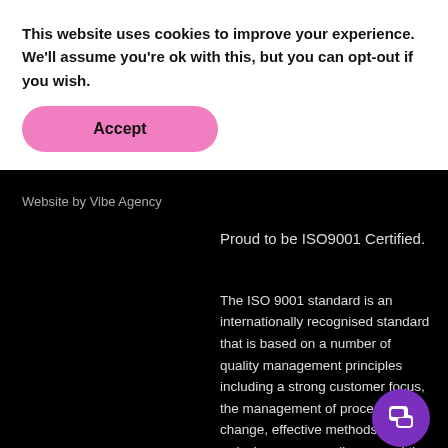This website uses cookies to improve your experience. We'll assume you're ok with this, but you can opt-out if you wish.
Accept
Website by Vibe Agency
Proud to be ISO9001 Certified.
The ISO 9001 standard is an internationally recognised standard that is based on a number of quality management principles including a strong customer focus, the management of process change, effective methods of reducing non- compliance, and the continual improvement in the quality of our services.